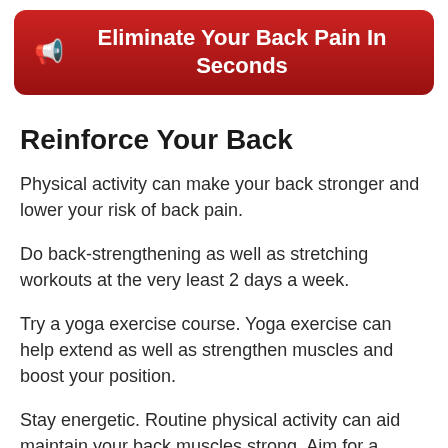Eliminate Your Back Pain In Seconds
Reinforce Your Back
Physical activity can make your back stronger and lower your risk of back pain.
Do back-strengthening as well as stretching workouts at the very least 2 days a week.
Try a yoga exercise course. Yoga exercise can help extend as well as strengthen muscles and boost your position.
Stay energetic. Routine physical activity can aid maintain your back muscles strong. Aim for a minimum of 150 minutes a week of…